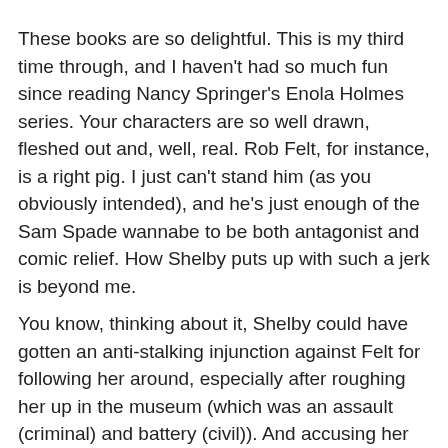These books are so delightful. This is my third time through, and I haven't had so much fun since reading Nancy Springer's Enola Holmes series. Your characters are so well drawn, fleshed out and, well, real. Rob Felt, for instance, is a right pig. I just can't stand him (as you obviously intended), and he's just enough of the Sam Spade wannabe to be both antagonist and comic relief. How Shelby puts up with such a jerk is beyond me.
You know, thinking about it, Shelby could have gotten an anti-stalking injunction against Felt for following her around, especially after roughing her up in the museum (which was an assault (criminal) and battery (civil)). And accusing her